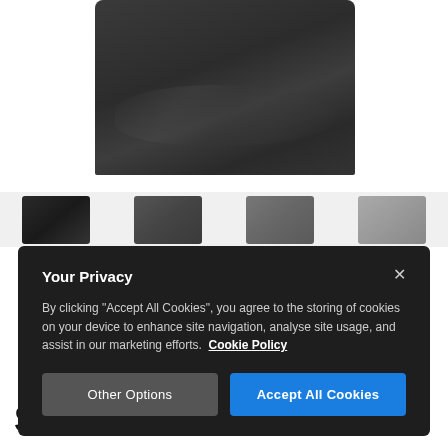[Figure (photo): Dark charcoal/black t-shirt product photo showing the body/torso section of the shirt with fabric wrinkles and texture visible]
[Figure (photo): Row of four small thumbnail images of t-shirts in different colors: black, dark gray, medium gray, light gray]
[Figure (screenshot): Cookie consent modal dialog with dark background containing title 'Your Privacy', body text about cookies, a Cookie Policy link, and two buttons: 'Other Options' and 'Accept All Cookies']
Stormlord Unisex T-